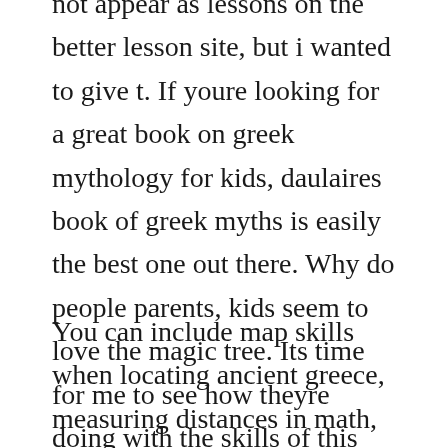not appear as lessons on the better lesson site, but i wanted to give t. If youre looking for a great book on greek mythology for kids, daulaires book of greek myths is easily the best one out there. Why do people parents, kids seem to love the magic tree. Its time for me to see how theyre doing with the skills of this week.
You can include map skills when locating ancient greece, measuring distances in math, researching figures in greek mythology, learning the origin of vocabulary words and